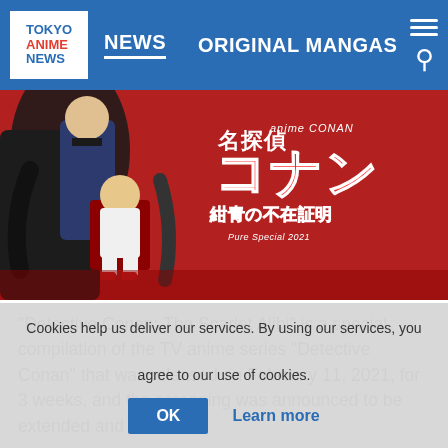TOKYO ANIME NEWS | NEWS | ORIGINAL MANGAS
[Figure (illustration): Detective Conan: The Scarlet Alibi promotional image — two anime characters on a red background with Japanese title text '名探偵コナン 紺青の不在証明' and 'anime CONAN' logo]
"Detective Conan: The Scarlet Alibi" is a special compilation of the TV anime series "Detective Conan" that was released on February 11, 2021, for 3 weeks, and the screening was announced to be extended and increased
Cookies help us deliver our services. By using our services, you agree to our use of cookies.
OK   Learn more